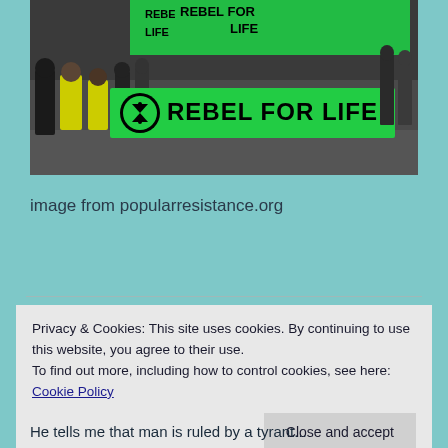[Figure (photo): Protest march with people holding a large green banner that reads 'REBEL FOR LIFE' with the Extinction Rebellion symbol (circle with hourglass). Police officers in yellow vests visible on the left.]
image from popularresistance.org
Privacy & Cookies: This site uses cookies. By continuing to use this website, you agree to their use.
To find out more, including how to control cookies, see here: Cookie Policy
Close and accept
He tells me that man is ruled by a tyrant...